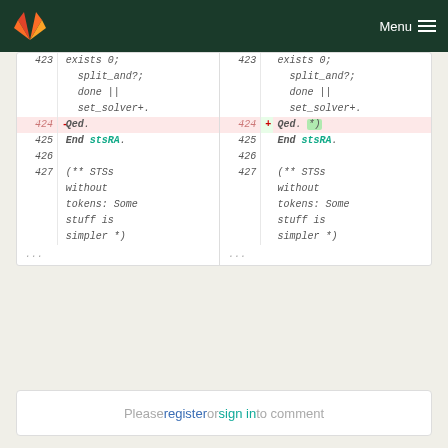GitLab Menu
[Figure (screenshot): Code diff view showing two columns. Left column: line 423 with 'exists 0; split_and?; done || set_solver+.', line 424 (removed, red) with '- Qed.', line 425 with 'End stsRA.', line 426 empty, line 427 with '(** STSs without tokens: Some stuff is simpler *)'. Right column mirrors with line 424 (added, green) '+ Qed. *)' with *) highlighted in green.]
Please register or sign in to comment